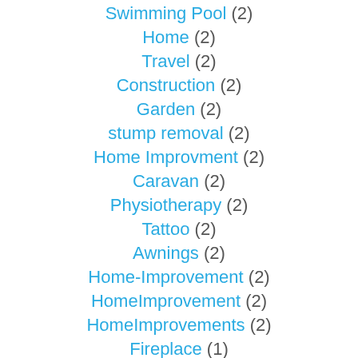Swimming Pool (2)
Home (2)
Travel (2)
Construction (2)
Garden (2)
stump removal (2)
Home Improvment (2)
Caravan (2)
Physiotherapy (2)
Tattoo (2)
Awnings (2)
Home-Improvement (2)
HomeImprovement (2)
HomeImprovements (2)
Fireplace (1)
Glassware (1)